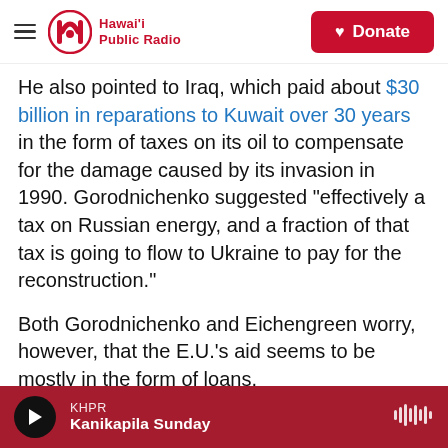Hawai'i Public Radio — Donate
He also pointed to Iraq, which paid about $30 billion in reparations to Kuwait over 30 years in the form of taxes on its oil to compensate for the damage caused by its invasion in 1990. Gorodnichenko suggested "effectively a tax on Russian energy, and a fraction of that tax is going to flow to Ukraine to pay for the reconstruction."
Both Gorodnichenko and Eichengreen worry, however, that the E.U.'s aid seems to be mostly in the form of loans.
"A country that is destroyed by a big war is not going to have the capacity to repay loans anytime
KHPR — Kanikapila Sunday